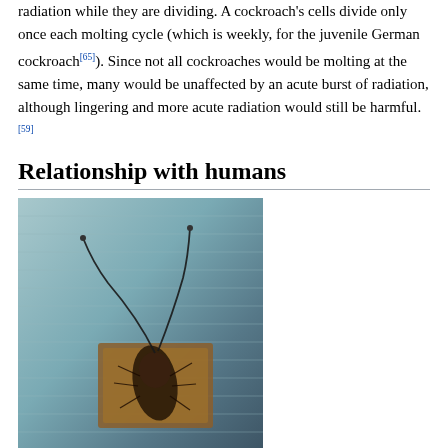radiation while they are dividing. A cockroach's cells divide only once each molting cycle (which is weekly, for the juvenile German cockroach[65]). Since not all cockroaches would be molting at the same time, many would be unaffected by an acute burst of radiation, although lingering and more acute radiation would still be harmful.[59]
Relationship with humans
[Figure (photo): A cockroach (Periplaneta americana) mounted or restrained on a surface with electrodes attached, used in an electrophysiology experiment. The image shows the cockroach on what appears to be a ribbed or corrugated surface.]
Cockroaches in research: Periplaneta americana in an electrophysiology experiment
In research and education
Because of their ease of rearing and resilience, cockroaches have been used as insect models in the laboratory, particularly in the